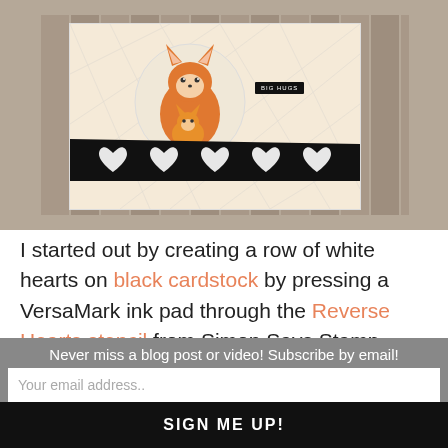[Figure (photo): A handmade greeting card featuring two cute fox illustrations (a large fox and a small fox/kit) inside a circle on a geometric-patterned cream background. A black banner with white glitter hearts runs across the bottom of the card. A black label reads 'BIG HUGS'. The card is displayed on a wooden background.]
I started out by creating a row of white hearts on black cardstock by pressing a VersaMark ink pad through the Reverse Hearts stencil from Simon Says Stamp. Then I
Never miss a blog post or video! Subscribe by email!
Your email address..
SIGN ME UP!